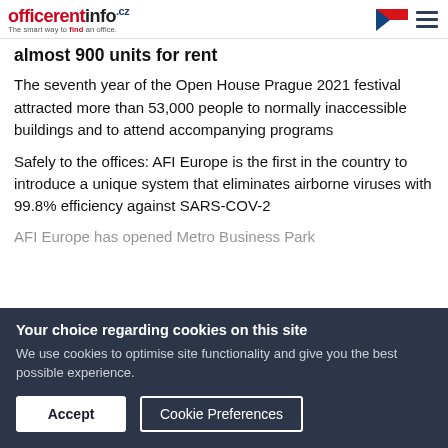officerentinfo.cz – The smart way to find an office.
almost 900 units for rent
The seventh year of the Open House Prague 2021 festival attracted more than 53,000 people to normally inaccessible buildings and to attend accompanying programs
Safely to the offices: AFI Europe is the first in the country to introduce a unique system that eliminates airborne viruses with 99.8% efficiency against SARS-COV-2
AFI Europe has opened Metro Business Park…
Your choice regarding cookies on this site
We use cookies to optimise site functionality and give you the best possible experience.